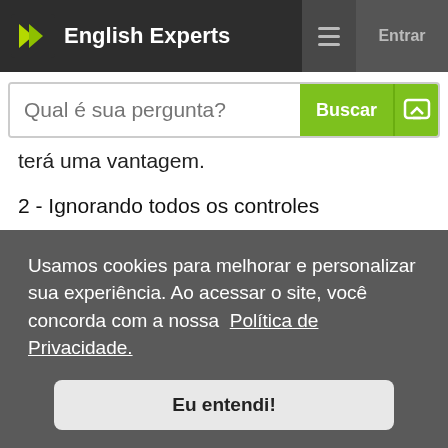English Experts
terá uma vantagem.
2 - Ignorando todos os controles
FIFA 10 é um dos jogos de futebol mais compreensivos, pois FIFA 10 contém uma grande variedade de
Usamos cookies para melhorar e personalizar sua experiência. Ao acessar o site, você concorda com a nossa Política de Privacidade.
Eu entendi!